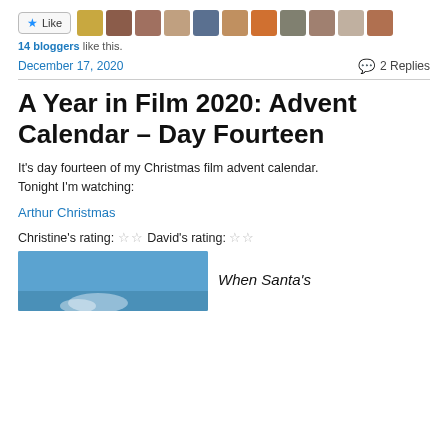[Figure (screenshot): Like button with star icon and a row of blogger avatar photos]
14 bloggers like this.
December 17, 2020
2 Replies
A Year in Film 2020: Advent Calendar – Day Fourteen
It's day fourteen of my Christmas film advent calendar. Tonight I'm watching:
Arthur Christmas
Christine's rating: ☆☆ David's rating: ☆☆
[Figure (photo): Partial image of a Christmas-themed movie scene, blue sky background]
When Santa's